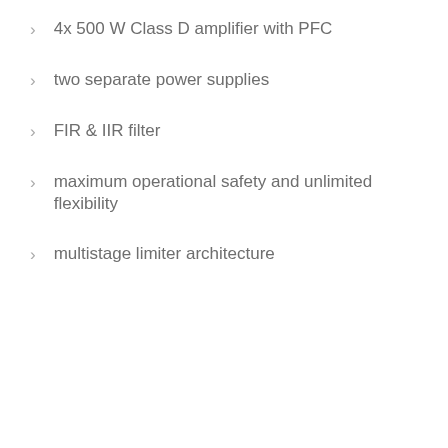4x 500 W Class D amplifier with PFC
two separate power supplies
FIR & IIR filter
maximum operational safety and unlimited flexibility
multistage limiter architecture